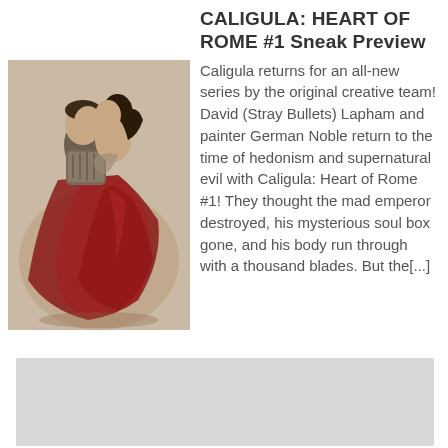CALIGULA: HEART OF ROME #1 Sneak Preview
[Figure (illustration): Painted illustration of two figures in Roman-era clothing embracing and kissing; one figure in armor with a red cape, the other in a flowing dark red dress.]
Caligula returns for an all-new series by the original creative team!  David (Stray Bullets) Lapham and painter German Noble return to the time of hedonism and supernatural evil with Caligula: Heart of Rome #1! They thought the mad emperor destroyed, his mysterious soul box gone, and his body run through with a thousand blades.  But the[...]
[Figure (other): Gray rectangular placeholder box at the bottom of the page.]